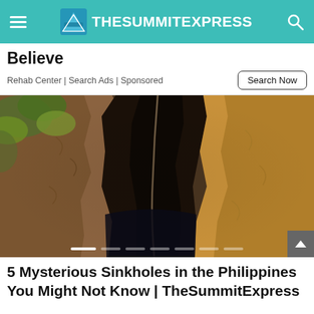TheSummitExpress
Believe
Rehab Center | Search Ads | Sponsored
[Figure (photo): A sinkhole or cave opening showing exposed earth, rock walls, and a dark cavern opening, with green foliage visible on the left side.]
5 Mysterious Sinkholes in the Philippines You Might Not Know | TheSummitExpress